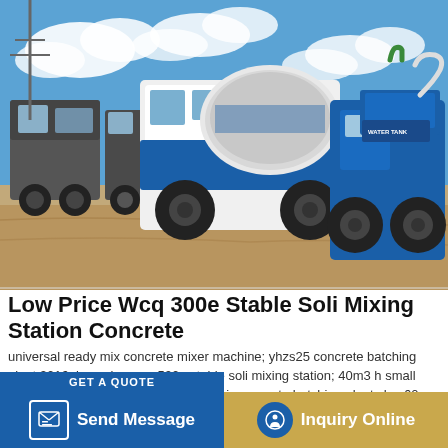[Figure (photo): Concrete mixer trucks and self-loading concrete mixers (blue and white) parked on a construction site with sandy ground and blue sky with clouds in the background.]
Low Price Wcq 300e Stable Soli Mixing Station Concrete
universal ready mix concrete mixer machine; yhzs25 concrete batching plant 2016; low price wcq 500g stable soli mixing station; 40m3 h small trailer concrete pump; mobile ready mix concrete batching plant yhzs60; js500 price of 1000 liter concrete mixer sale; small portable electric concrete mixer for sale; hot sell js 500 concrete transit mixer Liebherr concrete
Send Message
Inquiry Online
GET A QUOTE